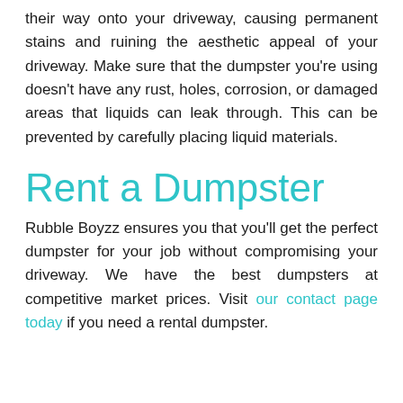their way onto your driveway, causing permanent stains and ruining the aesthetic appeal of your driveway. Make sure that the dumpster you're using doesn't have any rust, holes, corrosion, or damaged areas that liquids can leak through. This can be prevented by carefully placing liquid materials.
Rent a Dumpster
Rubble Boyzz ensures you that you'll get the perfect dumpster for your job without compromising your driveway. We have the best dumpsters at competitive market prices. Visit our contact page today if you need a rental dumpster.